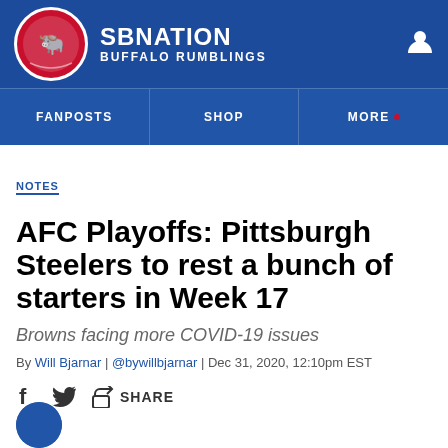SB NATION BUFFALO RUMBLINGS
NOTES
AFC Playoffs: Pittsburgh Steelers to rest a bunch of starters in Week 17
Browns facing more COVID-19 issues
By Will Bjarnar | @bywillbjarnar | Dec 31, 2020, 12:10pm EST
SHARE